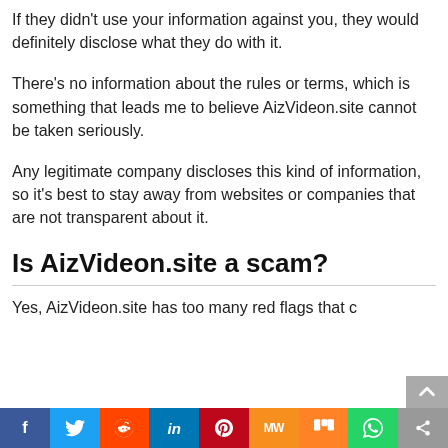If they didn't use your information against you, they would definitely disclose what they do with it.
There's no information about the rules or terms, which is something that leads me to believe AizVideon.site cannot be taken seriously.
Any legitimate company discloses this kind of information, so it's best to stay away from websites or companies that are not transparent about it.
Is AizVideon.site a scam?
Yes, AizVideon.site has too many red flags that c…
[Figure (infographic): Social media share buttons bar: Facebook (blue), Twitter (light blue), Reddit (orange-red), LinkedIn (blue), Pinterest (red), MeWe (orange), Mix (orange), WhatsApp (green), Share (grey)]